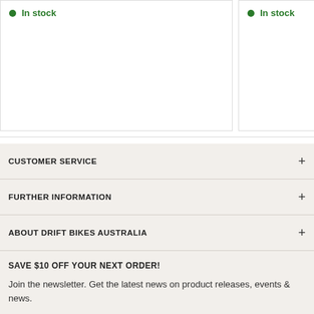In stock
In stock
CUSTOMER SERVICE
FURTHER INFORMATION
ABOUT DRIFT BIKES AUSTRALIA
SAVE $10 OFF YOUR NEXT ORDER!
Join the newsletter. Get the latest news on product releases, events & news.